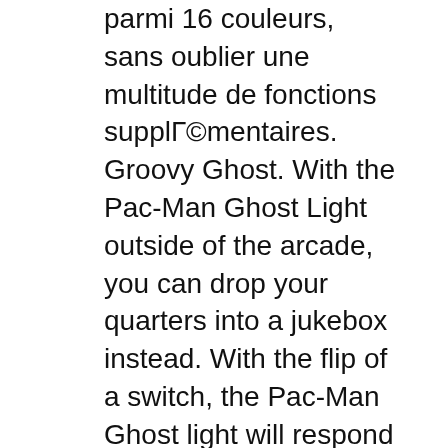parmi 16 couleurs, sans oublier une multitude de fonctions supplГ©mentaires. Groovy Ghost. With the Pac-Man Ghost Light outside of the arcade, you can drop your quarters into a jukebox instead. With the flip of a switch, the Pac-Man Ghost light will respond to sound and change color on beat. The sensitivity can be controlled with a knob located on the back of the ghost.
item 7 Lamp Pac-Man Ghost multicolor Lamp with remote control 20 cm Kidult - Lamp Pac-Man Ghost multicolor Lamp with remote control 20 cm Kidult. AU $75.37 +AU $23.39 postage. item 8 Bat Led Light Colorful Mirror Light Remote